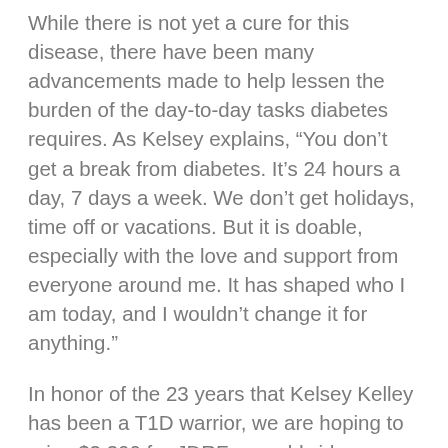While there is not yet a cure for this disease, there have been many advancements made to help lessen the burden of the day-to-day tasks diabetes requires. As Kelsey explains, “You don’t get a break from diabetes. It’s 24 hours a day, 7 days a week. We don’t get holidays, time off or vacations. But it is doable, especially with the love and support from everyone around me. It has shaped who I am today, and I wouldn’t change it for anything.”
In honor of the 23 years that Kelsey Kelley has been a T1D warrior, we are hoping to raise $2,300 for JDRF, a worldwide organization funding research for type 1 diabetes. American Moving and Installation Inc. will match all donations made to the donation link during the month of November. CEO/Founder, Kathleen Rowell, shared, “This organization holds a special place in my heart. Kelsey is not just an employee; she is my daughter. I would love for this to be a huge success.”